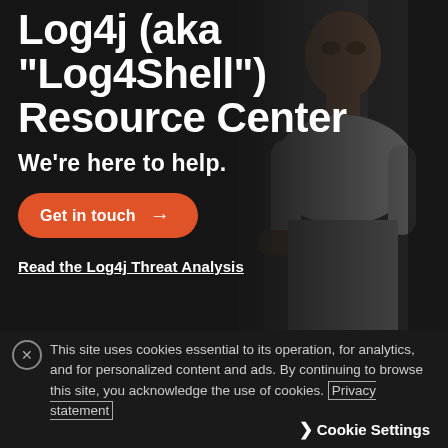[Figure (photo): Dark background with a person (man) sitting at a desk/computer, viewed from the side. Dark overlay on left side. Photo serves as background for the hero section.]
Log4j (aka "Log4Shell") Resource Center
We're here to help.
Get in touch →
Read the Log4j Threat Analysis
This site uses cookies essential to its operation, for analytics, and for personalized content and ads. By continuing to browse this site, you acknowledge the use of cookies. Privacy statement
❯ Cookie Settings